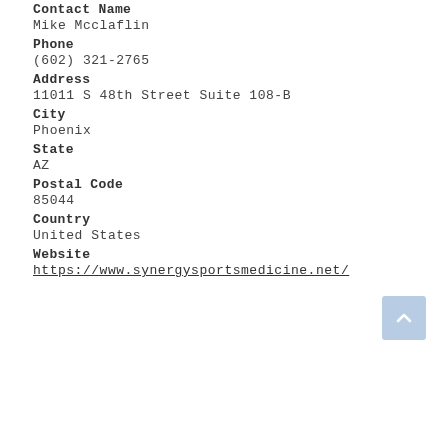Contact Name
Mike Mcclaflin
Phone
(602) 321-2765
Address
11011 S 48th Street Suite 108-B
City
Phoenix
State
AZ
Postal Code
85044
Country
United States
Website
https://www.synergysportsmedicine.net/